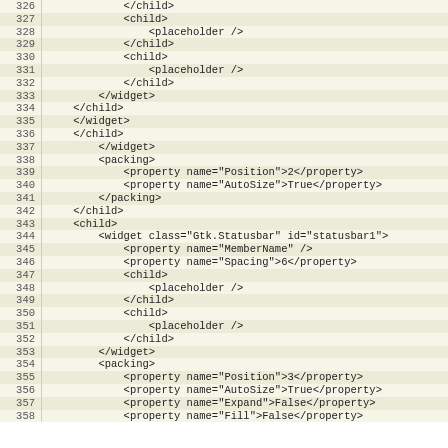[Figure (screenshot): Code editor view showing XML markup with line numbers 326-358. The content shows GTK widget XML with child elements, placeholders, widget tags, packing properties including Position, AutoSize, Expand and Fill.]